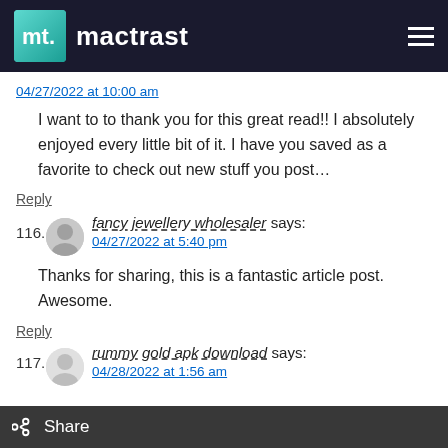mactrast
04/27/2022 at 10:00 am
I want to to thank you for this great read!! I absolutely enjoyed every little bit of it. I have you saved as a favorite to check out new stuff you post…
Reply
116. fancy jewellery wholesaler says: 04/27/2022 at 5:40 pm
Thanks for sharing, this is a fantastic article post. Awesome.
Reply
117. rummy gold apk download says: 04/28/2022 at 1:56 am
Share